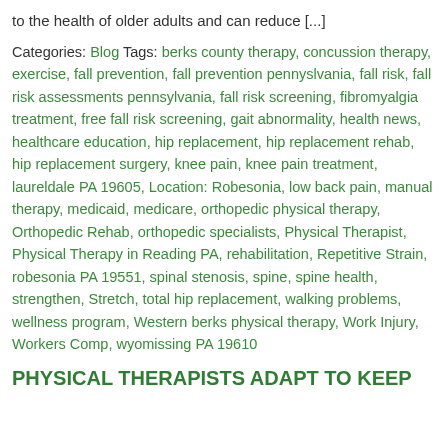to the health of older adults and can reduce [...]
Categories: Blog Tags: berks county therapy, concussion therapy, exercise, fall prevention, fall prevention pennyslvania, fall risk, fall risk assessments pennsylvania, fall risk screening, fibromyalgia treatment, free fall risk screening, gait abnormality, health news, healthcare education, hip replacement, hip replacement rehab, hip replacement surgery, knee pain, knee pain treatment, laureldale PA 19605, Location: Robesonia, low back pain, manual therapy, medicaid, medicare, orthopedic physical therapy, Orthopedic Rehab, orthopedic specialists, Physical Therapist, Physical Therapy in Reading PA, rehabilitation, Repetitive Strain, robesonia PA 19551, spinal stenosis, spine, spine health, strengthen, Stretch, total hip replacement, walking problems, wellness program, Western berks physical therapy, Work Injury, Workers Comp, wyomissing PA 19610
PHYSICAL THERAPISTS ADAPT TO KEEP